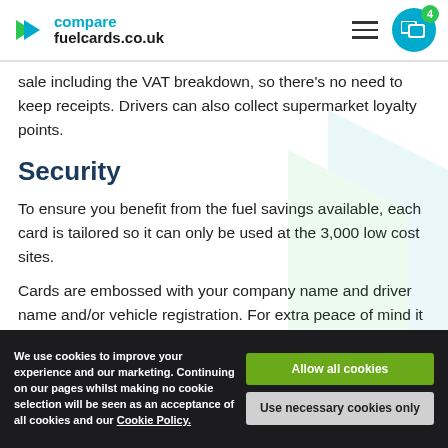[Figure (logo): comparefuelcards.co.uk logo with arrow icon, hamburger menu, and compare badge with number 4]
sale including the VAT breakdown, so there's no need to keep receipts. Drivers can also collect supermarket loyalty points.
Security
To ensure you benefit from the fuel savings available, each card is tailored so it can only be used at the 3,000 low cost sites.
Cards are embossed with your company name and driver name and/or vehicle registration. For extra peace of mind it also incorporates chip technology to help reduce the potential of fraudulent use.
We use cookies to improve your experience and our marketing. Continuing on our pages whilst making no cookie selection will be seen as an acceptance of all cookies and our Cookie Policy.